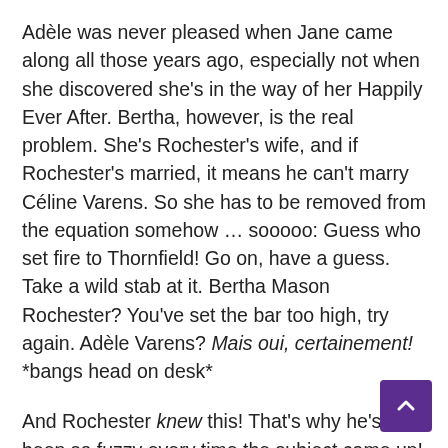Adèle was never pleased when Jane came along all those years ago, especially not when she discovered she's in the way of her Happily Ever After. Bertha, however, is the real problem. She's Rochester's wife, and if Rochester's married, it means he can't marry Céline Varens. So she has to be removed from the equation somehow … sooooo: Guess who set fire to Thornfield! Go on, have a guess. Take a wild stab at it. Bertha Mason Rochester? You've set the bar too high, try again. Adèle Varens? Mais oui, certainement! *bangs head on desk*
And Rochester knew this! That's why he's been so fuzzy every time the subject came up! Céline Varens shows up in the end, only to find the true daughter of Paris on her death bed, because she's only tried to set fire to Thornfield once again. *bangs head on desk again*